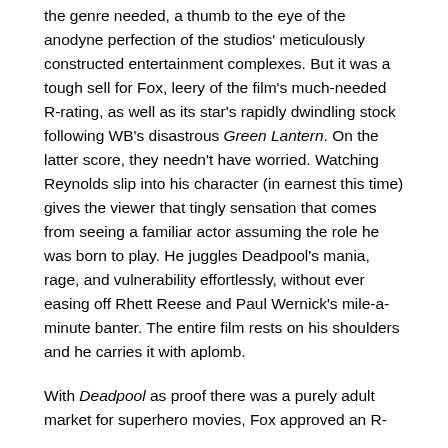the genre needed, a thumb to the eye of the anodyne perfection of the studios' meticulously constructed entertainment complexes. But it was a tough sell for Fox, leery of the film's much-needed R-rating, as well as its star's rapidly dwindling stock following WB's disastrous Green Lantern. On the latter score, they needn't have worried. Watching Reynolds slip into his character (in earnest this time) gives the viewer that tingly sensation that comes from seeing a familiar actor assuming the role he was born to play. He juggles Deadpool's mania, rage, and vulnerability effortlessly, without ever easing off Rhett Reese and Paul Wernick's mile-a-minute banter. The entire film rests on his shoulders and he carries it with aplomb.
With Deadpool as proof there was a purely adult market for superhero movies, Fox approved an R-